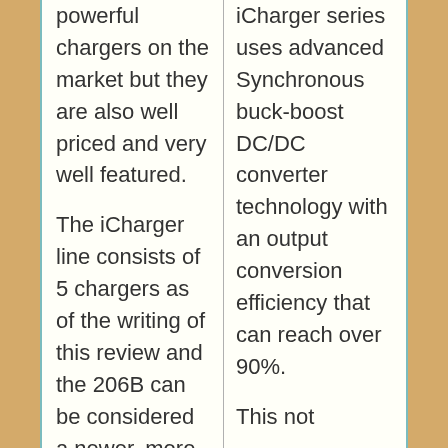powerful chargers on the market but they are also well priced and very well featured. The iCharger line consists of 5 chargers as of the writing of this review and the 206B can be considered a newer, more powerful version of one
iCharger series uses advanced Synchronous buck-boost DC/DC converter technology with an output conversion efficiency that can reach over 90%. This not